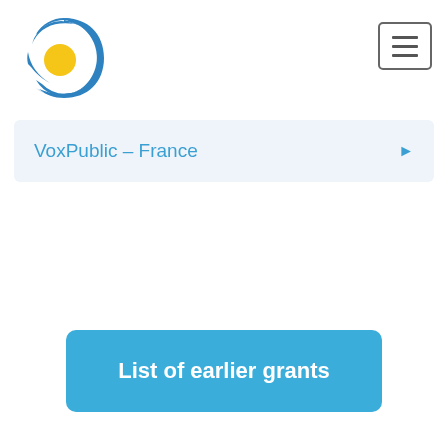[Figure (logo): Circular logo with a yellow sun and blue crescent/eye shape, resembling an eye icon]
VoxPublic – France
List of earlier grants